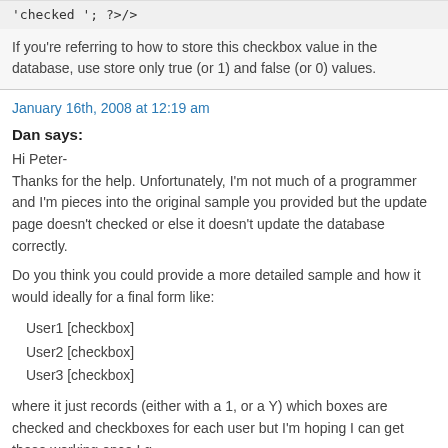'checked '; ?>/>
If you're referring to how to store this checkbox value in the database, use store only true (or 1) and false (or 0) values.
January 16th, 2008 at 12:19 am
Dan says:
Hi Peter-
Thanks for the help. Unfortunately, I'm not much of a programmer and I'm pieces into the original sample you provided but the update page doesn't checked or else it doesn't update the database correctly.
Do you think you could provide a more detailed sample and how it would ideally for a final form like:
User1 [checkbox]
User2 [checkbox]
User3 [checkbox]
where it just records (either with a 1, or a Y) which boxes are checked and checkboxes for each user but I'm hoping I can get those working once I g
Thanks again!